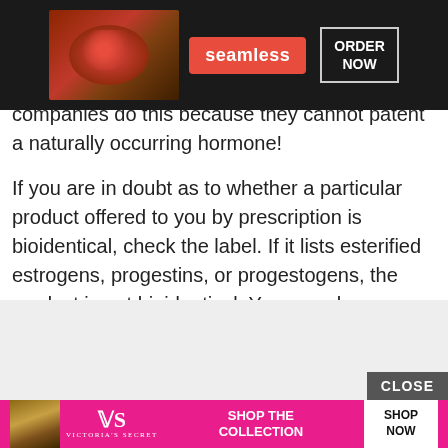[Figure (other): Seamless food delivery advertisement banner with pizza image, 'seamless' brand name in red box, and 'ORDER NOW' button]
Proven [partially obscured] s a substi[tute for] [pharma]tical companies do this because they cannot patent a naturally occurring hormone!
If you are in doubt as to whether a particular product offered to you by prescription is bioidentical, check the label. If it lists esterified estrogens, progestins, or progestogens, the product is not bioidentical. You can also research the products you may be considering, as many have their own websites.
[Figure (other): Gray advertisement placeholder area with CLOSE button]
[Figure (other): Victoria's Secret advertisement banner in pink with model, VS logo, 'SHOP THE COLLECTION' text and 'SHOP NOW' button]